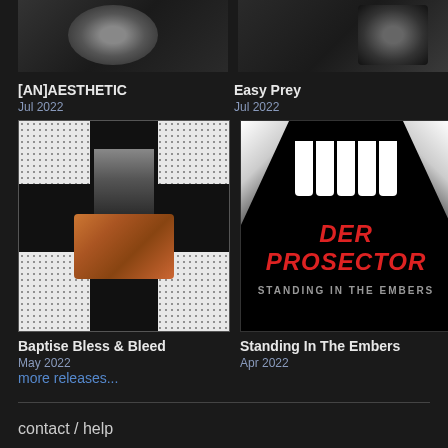[Figure (photo): Album art for [AN]AESTHETIC, partially visible at top-left, dark grainy face image]
[Figure (photo): Album art for Easy Prey, partially visible at top-right, dark image]
[AN]AESTHETIC
Jul 2022
Easy Prey
Jul 2022
[Figure (photo): Album art for Baptise Bless & Bleed - white dotted cross pattern background with a person's face and hands holding red-orange objects]
[Figure (photo): Album art for Standing In The Embers - dark black background with large grinning teeth/face, DER PROSECTOR text in red, STANDING IN THE EMBERS in gray]
Baptise Bless & Bleed
May 2022
Standing In The Embers
Apr 2022
more releases...
contact / help